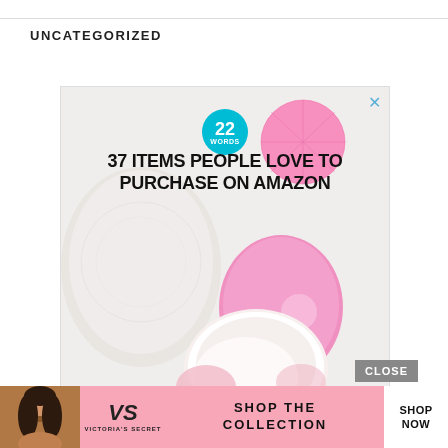UNCATEGORIZED
[Figure (photo): Article card showing a pink makeup brush on white background with '22 Words' badge and headline '37 ITEMS PEOPLE LOVE TO PURCHASE ON AMAZON', with close X button]
CLOSE
[Figure (photo): Victoria's Secret advertisement banner with model, VS logo, 'SHOP THE COLLECTION' text and 'SHOP NOW' button]